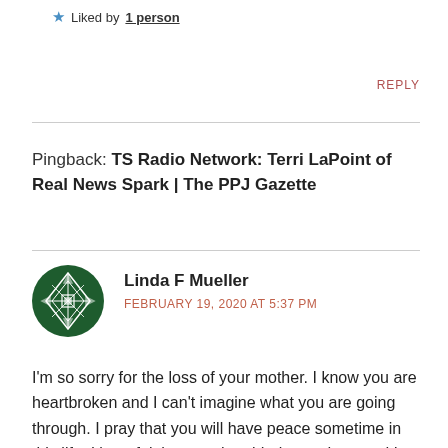Liked by 1 person
REPLY
Pingback: TS Radio Network: Terri LaPoint of Real News Spark | The PPJ Gazette
Linda F Mueller
FEBRUARY 19, 2020 AT 5:37 PM
I'm so sorry for the loss of your mother. I know you are heartbroken and I can't imagine what you are going through. I pray that you will have peace sometime in this life. It's awful the way the elderly are done and I pray you find a good lawyer that will take everyone involved